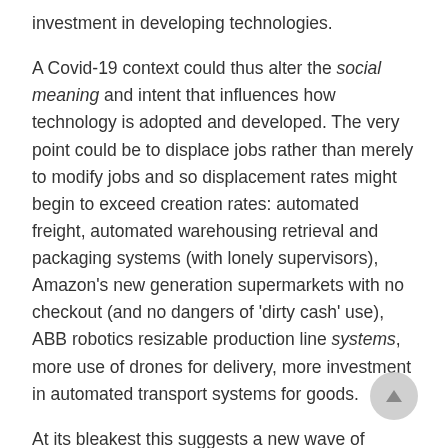investment in developing technologies.
A Covid-19 context could thus alter the social meaning and intent that influences how technology is adopted and developed. The very point could be to displace jobs rather than merely to modify jobs and so displacement rates might begin to exceed creation rates: automated freight, automated warehousing retrieval and packaging systems (with lonely supervisors), Amazon's new generation supermarkets with no checkout (and no dangers of 'dirty cash' use), ABB robotics resizable production line systems, more use of drones for delivery, more investment in automated transport systems for goods.
At its bleakest this suggests a new wave of structural unemployment as a learned response to Covid-19's current economic devastation. It is worth noting, of course, that there were bleak forecasts of enduring mass unemployment after the global financial crisis, and whilst unemployment did rise, in the UK it did not rise as expected or endure as long as some